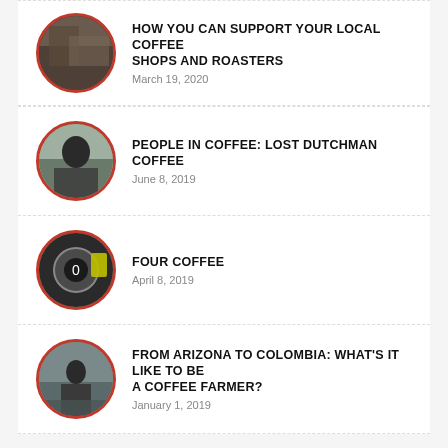HOW YOU CAN SUPPORT YOUR LOCAL COFFEE SHOPS AND ROASTERS
March 19, 2020
PEOPLE IN COFFEE: LOST DUTCHMAN COFFEE
June 8, 2019
FOUR COFFEE
April 8, 2019
FROM ARIZONA TO COLOMBIA: WHAT'S IT LIKE TO BE A COFFEE FARMER?
January 1, 2019
Categories